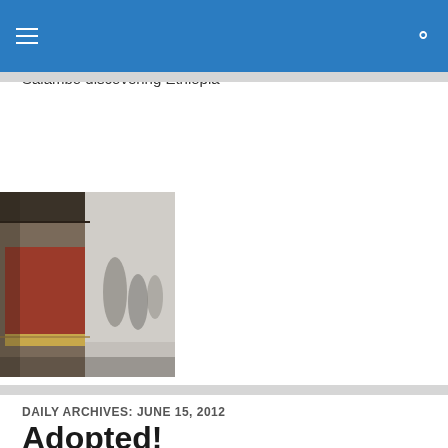Salambo in Addis
Salambo in Addis
Salambo discovering Ethiopia
[Figure (illustration): An abstract or impressionistic painting showing architectural forms and figures in muted greys with patches of red and dark brown tones]
DAILY ARCHIVES: JUNE 15, 2012
Adopted!